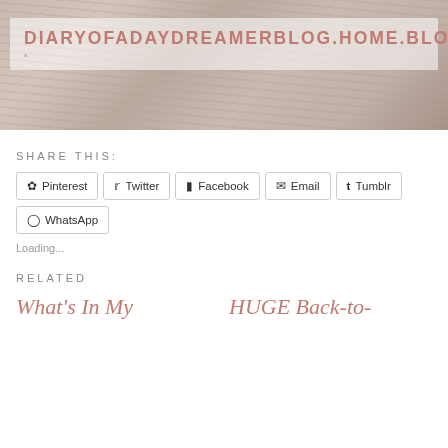[Figure (photo): Blog header image showing a blurred keyboard/notebook background with the blog name overlaid in a semi-transparent white box. Text reads DIARYOFADAYDREAMERBLOG.HOME.BLOG]
SHARE THIS:
Pinterest  Twitter  Facebook  Email  Tumblr  WhatsApp
Loading...
RELATED
What's In My  |  HUGE Back-to-